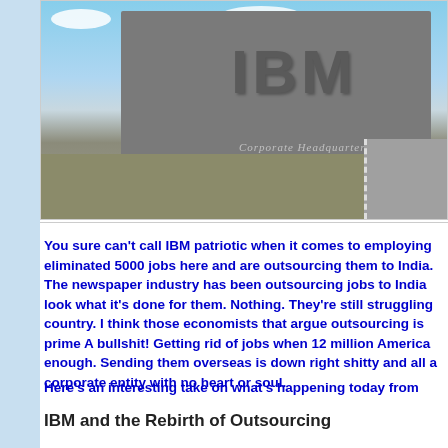[Figure (photo): Photograph of IBM Corporate Headquarters sign — a large gray monolith with the IBM logo and text 'Corporate Headquarters', set against a blue sky with clouds and a landscape background.]
You sure can't call IBM patriotic when it comes to employing Americans. They've eliminated 5000 jobs here and are outsourcing them to India. The newspaper industry has been outsourcing jobs to India for years and look what it's done for them. Nothing. They're still struggling to survive in this country. I think those economists that argue outsourcing is good for America are prime A bullshit! Getting rid of jobs when 12 million Americans are out of work is bad enough. Sending them overseas is down right shitty and all it does is support a corporate entity with no heart or soul.
Here's an interesting take on what's happening today from
IBM and the Rebirth of Outsourcing